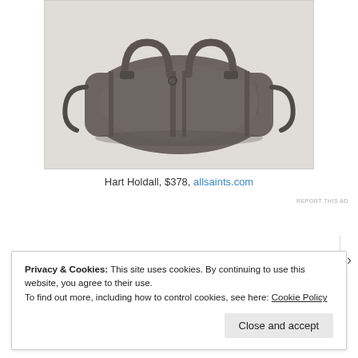[Figure (photo): Gray leather duffle/holdall bag with two top handles and a shoulder strap, photographed on a light gray background.]
Hart Holdall, $378, allsaints.com
REPORT THIS AD
Privacy & Cookies: This site uses cookies. By continuing to use this website, you agree to their use.
To find out more, including how to control cookies, see here: Cookie Policy
Close and accept